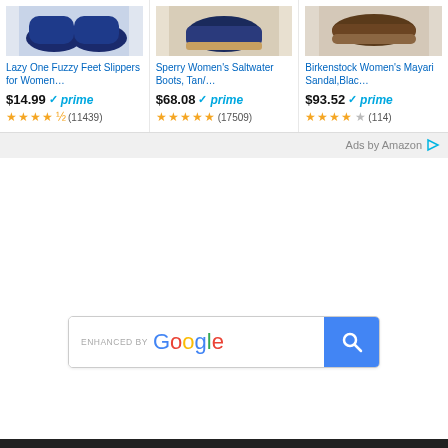[Figure (screenshot): Amazon product listing ad section showing three product cards: shoes/slippers partially cropped at top. Left: blue patterned slippers, Center: navy rain boots, Right: brown/black sandals (partially cropped).]
Lazy One Fuzzy Feet Slippers for Women…
$14.99 ✓prime (11439)
Sperry Women's Saltwater Boots, Tan/…
$68.08 ✓prime (17509)
Birkenstock Women's Mayari Sandal,Blac…
$93.52 ✓prime (114)
Ads by Amazon
[Figure (screenshot): Enhanced by Google search bar with blue search button containing a magnifying glass icon]